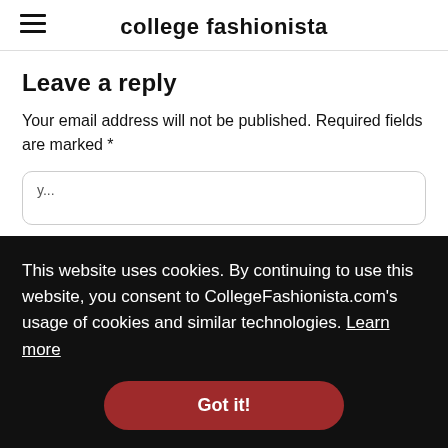college fashionista
Leave a reply
Your email address will not be published. Required fields are marked *
[Figure (screenshot): Advertisement banner: 'free stuff' with JOIN NOW button and close X button, teal gradient background]
This website uses cookies. By continuing to use this website, you consent to CollegeFashionista.com's usage of cookies and similar technologies. Learn more
Got it!